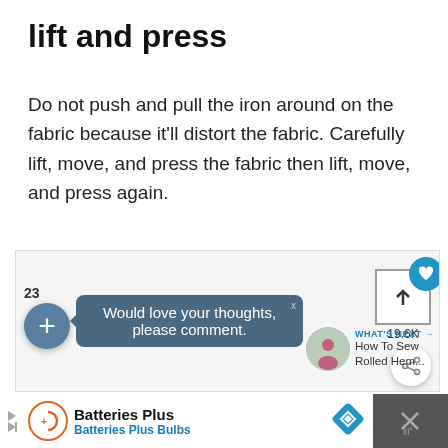lift and press
Do not push and pull the iron around on the fabric because it'll distort the fabric. Carefully lift, move, and press the fabric then lift, move, and press again.
[Figure (screenshot): Mobile app screenshot showing a UI overlay with: a save/share button with heart icon and 19.6K count, a share button, a comment count of 23, a plus button, a tooltip bubble saying 'Would love your thoughts, please comment.' with an X close button, and a 'WHAT'S NEXT' panel showing 'How To Sew Rolled Hem...' with a thumbnail.]
[Figure (screenshot): Advertisement bar at the bottom showing Batteries Plus logo, 'Batteries Plus' name in black bold, 'Batteries Plus Bulbs' in blue, a blue diamond navigation icon, and a close button area on the right.]